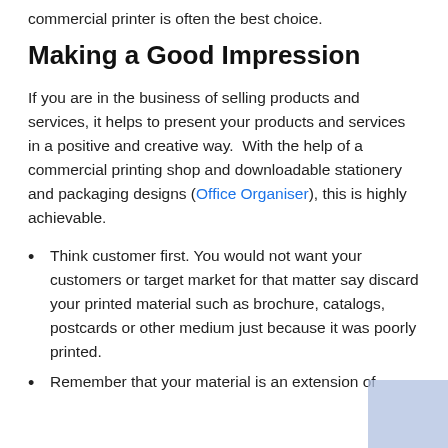commercial printer is often the best choice.
Making a Good Impression
If you are in the business of selling products and services, it helps to present your products and services in a positive and creative way.  With the help of a commercial printing shop and downloadable stationery and packaging designs (Office Organiser), this is highly achievable.
Think customer first. You would not want your customers or target market for that matter say discard your printed material such as brochure, catalogs, postcards or other medium just because it was poorly printed.
Remember that your material is an extension of